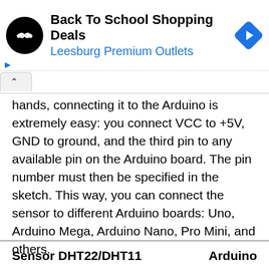[Figure (other): Advertisement banner: Back To School Shopping Deals at Leesburg Premium Outlets, with circular black logo and blue navigation diamond icon]
hands, connecting it to the Arduino is extremely easy: you connect VCC to +5V, GND to ground, and the third pin to any available pin on the Arduino board. The pin number must then be specified in the sketch. This way, you can connect the sensor to different Arduino boards: Uno, Arduino Mega, Arduino Nano, Pro Mini, and others.

Connection of the sensor module is made according to the following scheme:
| Sensor DHT22/DHT11 | Arduino |
| --- | --- |